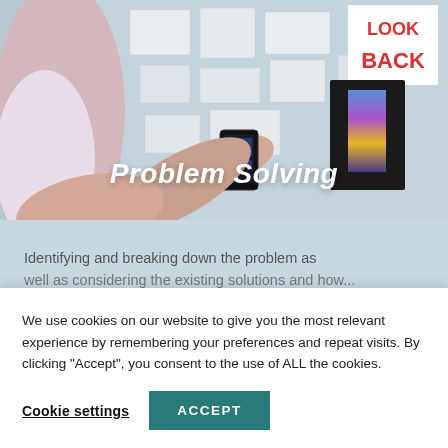[Figure (photo): Person holding a smartphone in front of a wall with papers/designs pinned on it, including a colorful gradient card. A sign in the top right reads 'LOOK BACK' in red text.]
Problem Solving
Identifying and breaking down the problem as well as considering the existing solutions and how...
We use cookies on our website to give you the most relevant experience by remembering your preferences and repeat visits. By clicking “Accept”, you consent to the use of ALL the cookies.
Cookie settings
ACCEPT